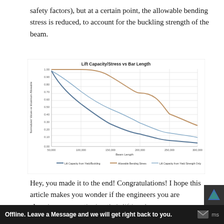safety factors), but at a certain point, the allowable bending stress is reduced, to account for the buckling strength of the beam.
[Figure (continuous-plot): A line chart showing three curves: 'Lift Capacity from Yield/Buckling' (dark blue, decreasing steeply), 'Allowable Bending Stress' (orange/tan, decreasing gradually), and 'Lift Capacity from Yield Strength Only' (light blue, decreasing moderately). X-axis shows Beam Length from 50,000 to 300,000. Y-axis shows Normalized Values vs Maximum Allowable from 0.00 to 1.00.]
Hey, you made it to the end! Congratulations! I hope this article makes you wonder if the engineers you are choosing are questioning their lifting d...